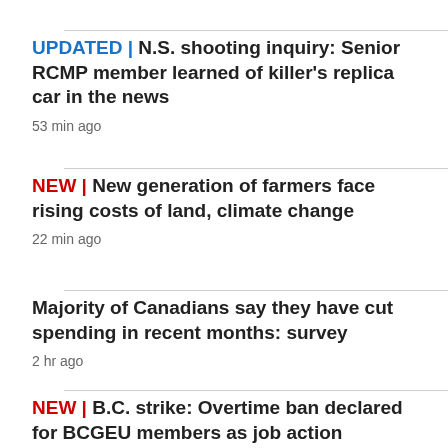UPDATED | N.S. shooting inquiry: Senior RCMP member learned of killer's replica car in the news
53 min ago
NEW | New generation of farmers face rising costs of land, climate change
22 min ago
Majority of Canadians say they have cut spending in recent months: survey
2 hr ago
NEW | B.C. strike: Overtime ban declared for BCGEU members as job action escalates